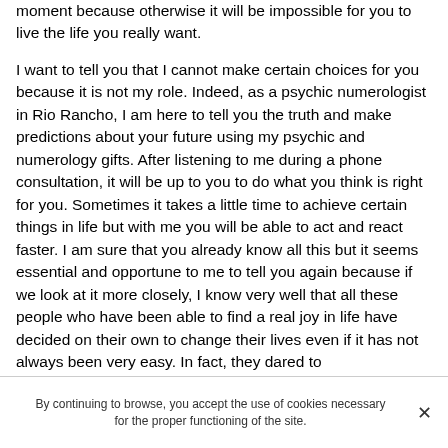moment because otherwise it will be impossible for you to live the life you really want.

I want to tell you that I cannot make certain choices for you because it is not my role. Indeed, as a psychic numerologist in Rio Rancho, I am here to tell you the truth and make predictions about your future using my psychic and numerology gifts. After listening to me during a phone consultation, it will be up to you to do what you think is right for you. Sometimes it takes a little time to achieve certain things in life but with me you will be able to act and react faster. I am sure that you already know all this but it seems essential and opportune to me to tell you again because if we look at it more closely, I know very well that all these people who have been able to find a real joy in life have decided on their own to change their lives even if it has not always been very easy. In fact, they dared to
By continuing to browse, you accept the use of cookies necessary for the proper functioning of the site.